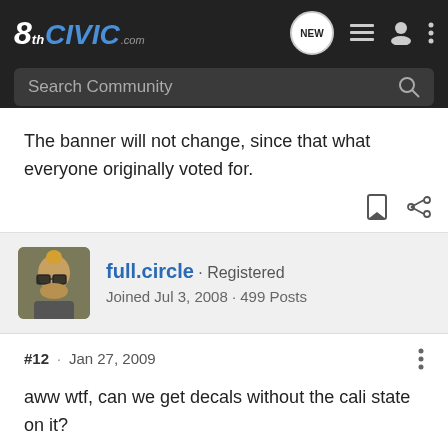8thCivic.com - navigation bar with search
The banner will not change, since that what everyone originally voted for.
full.circle · Registered
Joined Jul 3, 2008 · 499 Posts
#12 · Jan 27, 2009
aww wtf, can we get decals without the cali state on it?